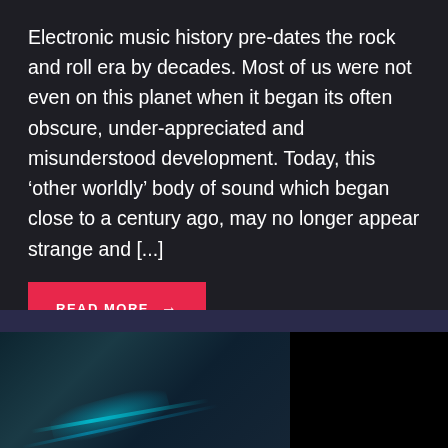Electronic music history pre-dates the rock and roll era by decades. Most of us were not even on this planet when it began its often obscure, under-appreciated and misunderstood development. Today, this ‘other worldly’ body of sound which began close to a century ago, may no longer appear strange and [...]
READ MORE →
[Figure (photo): Dark atmospheric photo showing glowing teal/cyan light streaks on a dark background, suggesting electronic music equipment or laser lights]